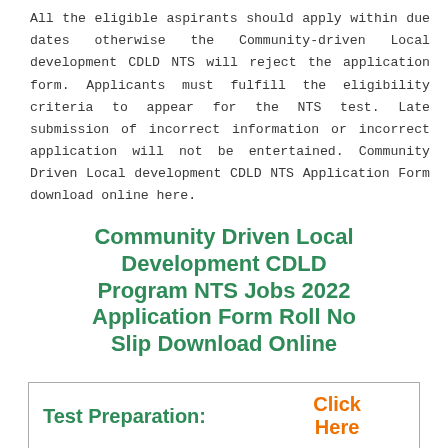All the eligible aspirants should apply within due dates otherwise the Community-driven Local development CDLD NTS will reject the application form. Applicants must fulfill the eligibility criteria to appear for the NTS test. Late submission of incorrect information or incorrect application will not be entertained. Community Driven Local development CDLD NTS Application Form download online here.
Community Driven Local Development CDLD Program NTS Jobs 2022 Application Form Roll No Slip Download Online
| Test Preparation: | Click Here |
| --- | --- |